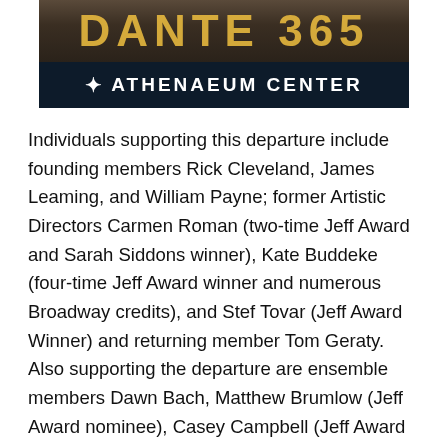[Figure (logo): Athenaeum Center banner showing 'DANTE 365' text above and 'ATHENAEUM CENTER' text with decorative logo on dark background below]
Individuals supporting this departure include founding members Rick Cleveland, James Leaming, and William Payne; former Artistic Directors Carmen Roman (two-time Jeff Award and Sarah Siddons winner), Kate Buddeke (four-time Jeff Award winner and numerous Broadway credits), and Stef Tovar (Jeff Award Winner) and returning member Tom Geraty. Also supporting the departure are ensemble members Dawn Bach, Matthew Brumlow (Jeff Award nominee), Casey Campbell (Jeff Award nominee), Dennis Cockrum (recently on